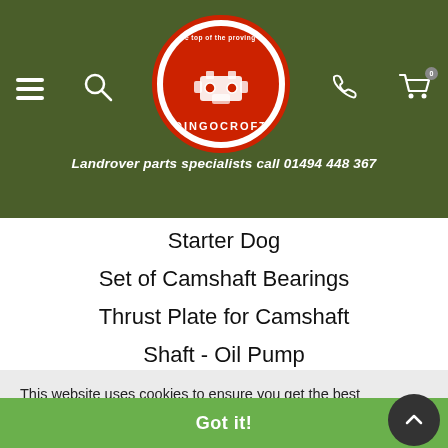[Figure (logo): Dingocroft logo — circular red badge with white text DINGOCROFT at bottom and stylized engine image in center, on dark olive green navigation bar with hamburger menu, search, phone, and cart icons]
Landrover parts specialists call 01494 448 367
Starter Dog
Set of Camshaft Bearings
Thrust Plate for Camshaft
Shaft - Oil Pump
This website uses cookies to ensure you get the best experience on our website.
Learn more
Got it!